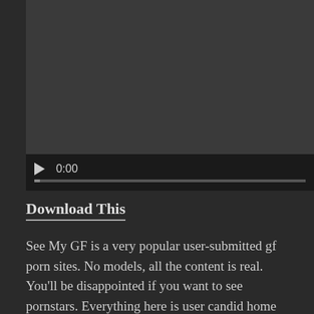[Figure (screenshot): Video player with dark background, play button, time display showing 0:00, and progress bar]
Download This
See My GF is a very popular user-submitted gf porn sites. No models, all the content is real. You'll be disappointed if you want to see pornstars. Everything here is user candid home made porn